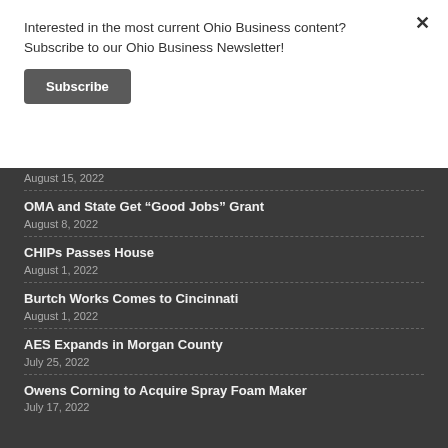Interested in the most current Ohio Business content? Subscribe to our Ohio Business Newsletter!
Subscribe
August 15, 2022
OMA and State Get “Good Jobs” Grant
August 8, 2022
CHIPs Passes House
August 1, 2022
Burtch Works Comes to Cincinnati
August 1, 2022
AES Expands in Morgan County
July 25, 2022
Owens Corning to Acquire Spray Foam Maker
July 17, 2022